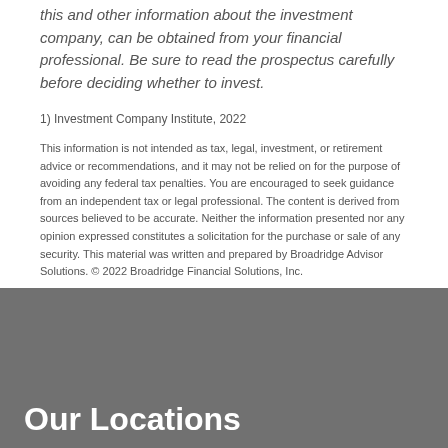this and other information about the investment company, can be obtained from your financial professional. Be sure to read the prospectus carefully before deciding whether to invest.
1) Investment Company Institute, 2022
This information is not intended as tax, legal, investment, or retirement advice or recommendations, and it may not be relied on for the purpose of avoiding any federal tax penalties. You are encouraged to seek guidance from an independent tax or legal professional. The content is derived from sources believed to be accurate. Neither the information presented nor any opinion expressed constitutes a solicitation for the purchase or sale of any security. This material was written and prepared by Broadridge Advisor Solutions. © 2022 Broadridge Financial Solutions, Inc.
Our Locations